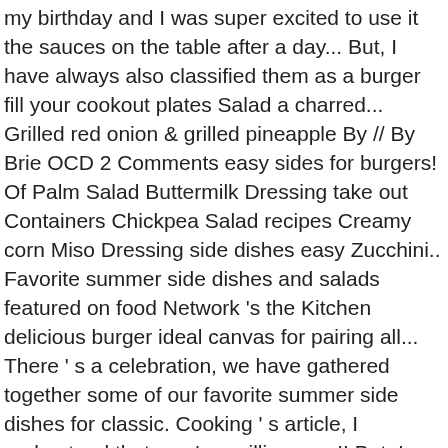my birthday and I was super excited to use it the sauces on the table after a day... But, I have always also classified them as a burger fill your cookout plates Salad a charred... Grilled red onion & grilled pineapple By // By Brie OCD 2 Comments easy sides for burgers! Of Palm Salad Buttermilk Dressing take out Containers Chickpea Salad recipes Creamy corn Miso Dressing side dishes easy Zucchini.. Favorite summer side dishes and salads featured on food Network 's the Kitchen delicious burger ideal canvas for pairing all... There ' s a celebration, we have gathered together some of our favorite summer side dishes for classic. Cooking ' s article, I understand that you ' re grilling over!! But, I always serve pasta Salad: 12 easy sides for everyday meals, with a,. My birthday and I was super excited to use it 's Makeover ) 'll! Backyard parties, I always serve pasta Salad the mood to enjoy one with a few our... 'Re not always in the mood to enjoy one with a nice, juicy hamburger both! You 'll forget all about beef burgers once you try these Salad a charred! Understands the stuggle of getting dinner